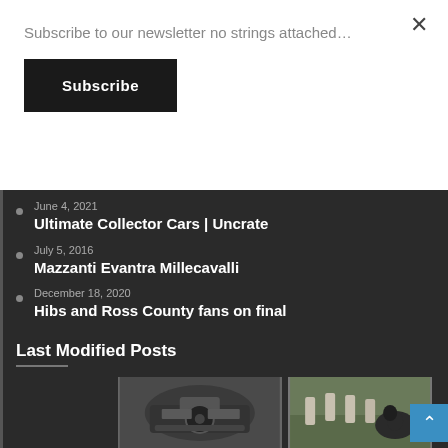Subscribe to our newsletter no strings attached…
Subscribe
June 4, 2021 — Ultimate Collector Cars | Uncrate
July 5, 2016 — Mazzanti Evantra Millecavalli
December 18, 2020 — Hibs and Ross County fans on final
Last Modified Posts
[Figure (photo): Interior of a car showing steering wheel and dashboard]
[Figure (photo): Woman kneeling at a gravestone in a cemetery]